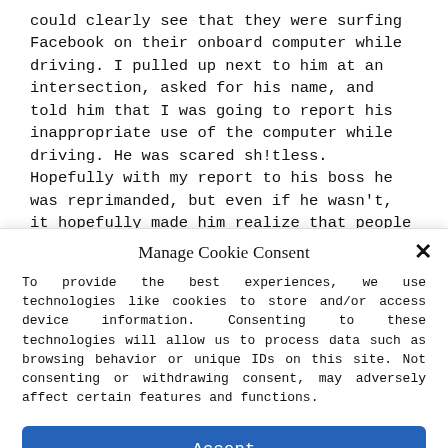could clearly see that they were surfing Facebook on their onboard computer while driving. I pulled up next to him at an intersection, asked for his name, and told him that I was going to report his inappropriate use of the computer while driving. He was scared sh!tless. Hopefully with my report to his boss he was reprimanded, but even if he wasn't, it hopefully made him realize that people watch the police very closely. Plus, I got an awesome power trip out of dishing out their scare tactics back to them.
Manage Cookie Consent
To provide the best experiences, we use technologies like cookies to store and/or access device information. Consenting to these technologies will allow us to process data such as browsing behavior or unique IDs on this site. Not consenting or withdrawing consent, may adversely affect certain features and functions.
Accept